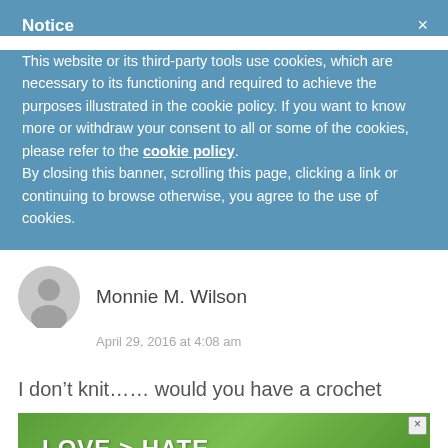Notice
This website or its third-party tools use cookies, which are necessary to its functioning and required to achieve the purposes illustrated in the cookie policy. If you want to know more or withdraw your consent to all or some of the cookies, please refer to the cookie policy.
By closing this banner, scrolling this page, clicking a link or continuing to browse otherwise, you agree to the use of cookies.
Monnie M. Wilson
April 29, 2016 at 4:08 am
I don't knit...... would you have a crochet
[Figure (photo): Advertisement banner with hands making a heart shape, text LOVE > HATE on green background]